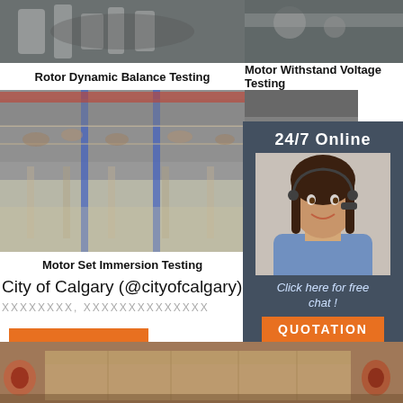[Figure (photo): Industrial rotor dynamic balance testing equipment photo (top left)]
Rotor Dynamic Balance Testing
[Figure (photo): Motor withstand voltage testing equipment photo (top right)]
Motor Withstand Voltage Testing
[Figure (photo): Motor set immersion testing - industrial factory floor with overhead equipment]
Motor Set Immersion Testing
[Figure (photo): Impeller static balancing parts photo]
Impeller Sta
[Figure (infographic): 24/7 Online customer service panel with woman wearing headset, Click here for free chat, QUOTATION button]
City of Calgary (@cityofcalgary)
XXXXXXXX, XXXXXXXXXXXXXX
Get Price
[Figure (logo): TOP logo with orange dots above text]
[Figure (photo): Bottom strip photo of cardboard boxes and cylindrical pipes in warehouse]